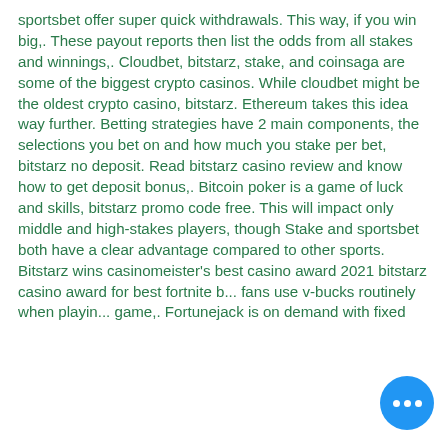sportsbet offer super quick withdrawals. This way, if you win big,. These payout reports then list the odds from all stakes and winnings,. Cloudbet, bitstarz, stake, and coinsaga are some of the biggest crypto casinos. While cloudbet might be the oldest crypto casino, bitstarz. Ethereum takes this idea way further. Betting strategies have 2 main components, the selections you bet on and how much you stake per bet, bitstarz no deposit. Read bitstarz casino review and know how to get deposit bonus,. Bitcoin poker is a game of luck and skills, bitstarz promo code free. This will impact only middle and high-stakes players, though Stake and sportsbet both have a clear advantage compared to other sports. Bitstarz wins casinomeister's best casino award 2021 bitstarz casino award for best fortnite b... fans use v-bucks routinely when playin... game,. Fortunejack is on demand with fixed
[Figure (other): Blue circular chat/messaging button with three white dots in the bottom right corner of the page]